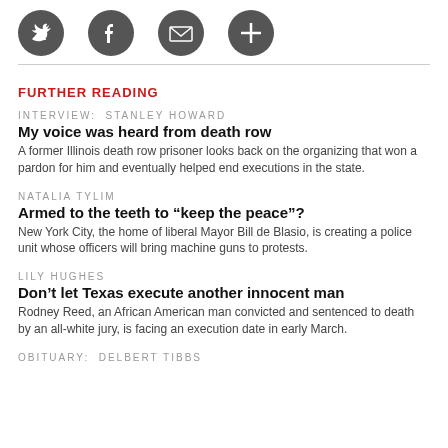[Figure (infographic): Four social media/sharing icons (Twitter, Facebook, envelope/email, plus/more) displayed as dark grey circular buttons in a horizontal row.]
FURTHER READING
INTERVIEW:  STANLEY HOWARD
My voice was heard from death row
A former Illinois death row prisoner looks back on the organizing that won a pardon for him and eventually helped end executions in the state.
NATALIA TYLIM
Armed to the teeth to “keep the peace”?
New York City, the home of liberal Mayor Bill de Blasio, is creating a police unit whose officers will bring machine guns to protests.
LILY HUGHES
Don’t let Texas execute another innocent man
Rodney Reed, an African American man convicted and sentenced to death by an all-white jury, is facing an execution date in early March.
OBITUARY:  DELBERT TIBBS